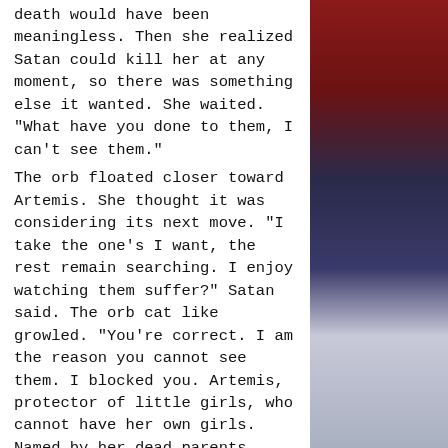death would have been meaningless. Then she realized Satan could kill her at any moment, so there was something else it wanted. She waited. "What have you done to them, I can't see them."
The orb floated closer toward Artemis. She thought it was considering its next move. "I take the one's I want, the rest remain searching. I enjoy watching them suffer?" Satan said. The orb cat like growled. "You're correct. I am the reason you cannot see them. I blocked you. Artemis, protector of little girls, who cannot have her own girls. Named by her dead parents after the goddess of the hunt, and the moon. I know why"
Artemis resisted her tears. It was poking, prodding, and jabbing at her – easily